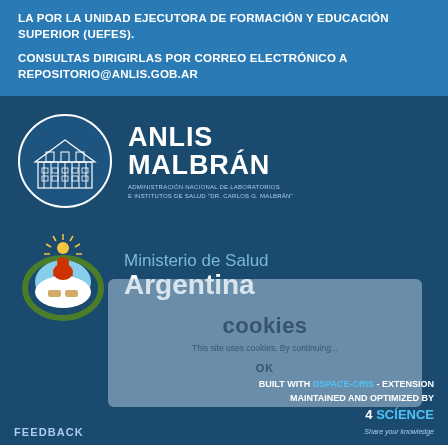LA POR LA UNIDAD EJECUTORA DE FORMACIÓN Y EDUCACIÓN SUPERIOR (UEFES). CONSULTAS DIRIGIRLAS POR CORREO ELECTRÓNICO A REPOSITORIO@ANLIS.GOB.AR
[Figure (logo): ANLIS Malbrán logo — circular crest with building and text ANLIS MALBRÁN, Administración Nacional de Laboratorios e Institutos de Salud 'Dr. Carlos G. Malbrán']
[Figure (logo): Ministerio de Salud Argentina logo — Argentine national coat of arms with text Ministerio de Salud Argentina]
FEEDBACK
BUILT WITH DSPACE-CRIS - EXTENSION MAINTAINED AND OPTIMIZED BY 4 SCIENCE Share your knowledge
cookies This site uses cookies. By continuing... OK